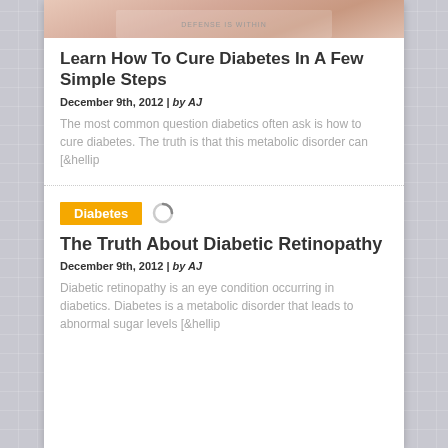[Figure (photo): Partial view of hands holding something, likely medical-related, cropped at the top of the card]
Learn How To Cure Diabetes In A Few Simple Steps
December 9th, 2012 | by AJ
The most common question diabetics often ask is how to cure diabetes. The truth is that this metabolic disorder can [&hellip
[Figure (other): Category badge labeled Diabetes in yellow/gold, and a loading spinner icon]
The Truth About Diabetic Retinopathy
December 9th, 2012 | by AJ
Diabetic retinopathy is an eye condition occurring in diabetics. Diabetes is a metabolic disorder that leads to abnormal sugar levels [&hellip